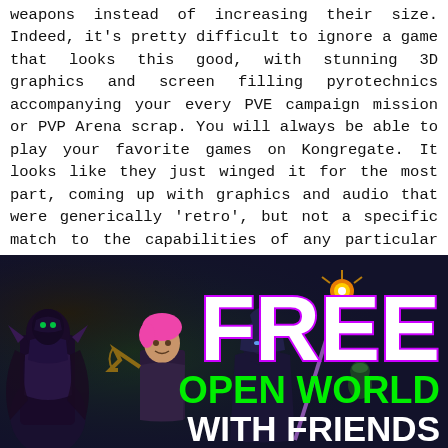weapons instead of increasing their size. Indeed, it's pretty difficult to ignore a game that looks this good, with stunning 3D graphics and screen filling pyrotechnics accompanying your every PVE campaign mission or PVP Arena scrap. You will always be able to play your favorite games on Kongregate. It looks like they just winged it for the most part, coming up with graphics and audio that were generically 'retro', but not a specific match to the capabilities of any particular classic hardware platform. Take on a fanatical cult run by the ruthless megalomaniac, Joseph Seed, along with his three other siblings.
[Figure (illustration): Gaming advertisement banner showing fantasy game characters (a mage with pink hair, a dark armored warrior, a wizard with a glowing staff) on a dark background with the text 'FREE' in large white letters with purple outline, 'OPEN WORLD' in green, and 'WITH FRIENDS' in white.]